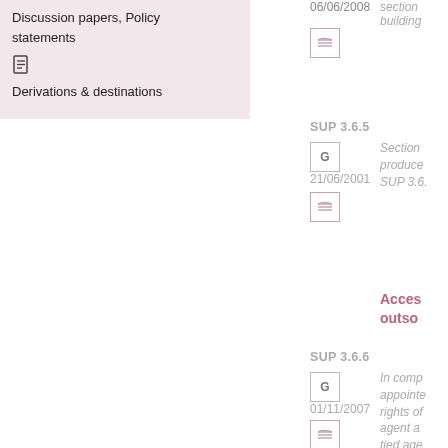Discussion papers, Policy statements
Derivations & destinations
06/06/2008
section building
SUP 3.6.5
21/06/2001
Section produced SUP 3.6.
Access outsourcing
SUP 3.6.6
01/11/2007
In comp appointed rights of agent a tied age SUP 12